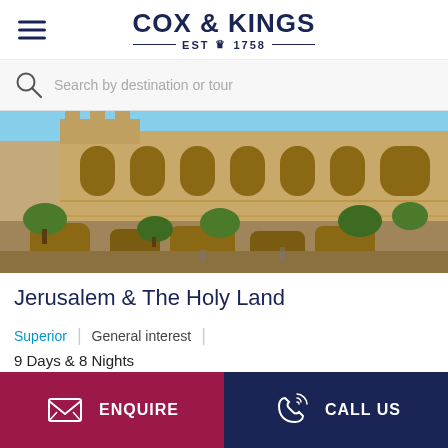COX & KINGS — EST ♛ 1758 —
Search by destination or tour
[Figure (photo): Ancient stone ruins and arched walls, likely Jerusalem's Tower of David or similar historical fortification, with olive trees and blue sky]
Jerusalem & The Holy Land
Superior | General interest
9 Days & 8 Nights
ENQUIRE
CALL US